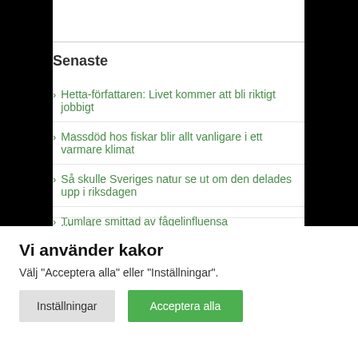Senaste
Hetta-författaren: Livet kommer att bli riktigt jobbigt
Massdöd hos fiskar blir allt vanligare i ett varmare klimat
Så skulle Sveriges natur se ut om den delades upp i riksdagen
Tumlare smittad av fågelinfluensa
Vi använder kakor
Välj "Acceptera alla" eller "Inställningar".
Inställningar
Acceptera alla